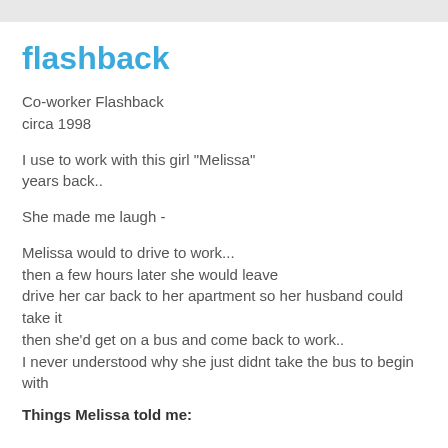flashback
Co-worker Flashback
circa 1998
I use to work with this girl "Melissa" years back..
She made me laugh -
Melissa would to drive to work...
then a few hours later she would leave
drive her car back to her apartment so her husband could take it
then she'd get on a bus and come back to work..
I never understood why she just didnt take the bus to begin with
Things Melissa told me: